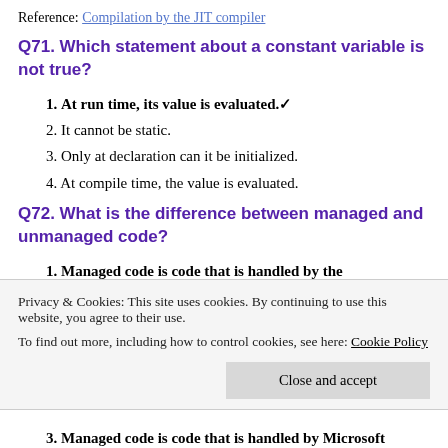Reference: Compilation by the JIT compiler
Q71. Which statement about a constant variable is not true?
1. At run time, its value is evaluated.✓
2. It cannot be static.
3. Only at declaration can it be initialized.
4. At compile time, the value is evaluated.
Q72. What is the difference between managed and unmanaged code?
1. Managed code is code that is handled by the
Privacy & Cookies: This site uses cookies. By continuing to use this website, you agree to their use.
To find out more, including how to control cookies, see here: Cookie Policy
3. Managed code is code that is handled by Microsoft